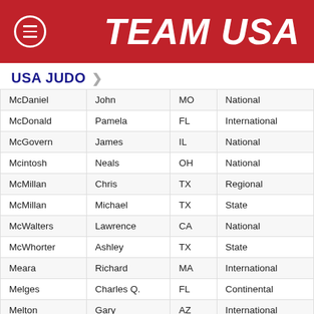TEAM USA
USA JUDO >
| McDaniel | John | MO | National |
| McDonald | Pamela | FL | International |
| McGovern | James | IL | National |
| Mcintosh | Neals | OH | National |
| McMillan | Chris | TX | Regional |
| McMillan | Michael | TX | State |
| McWalters | Lawrence | CA | National |
| McWhorter | Ashley | TX | State |
| Meara | Richard | MA | International |
| Melges | Charles Q. | FL | Continental |
| Melton | Gary | AZ | International |
| Menendez | Ricardo | FL | International Gold |